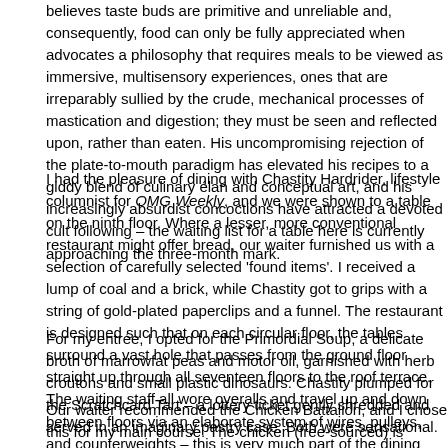believes taste buds are primitive and unreliable and, consequently, food can only be fully appreciated when advocates a philosophy that requires meals to be viewed as immersive, multisensory experiences, ones that are irreparably sullied by the crude, mechanical processes of mastication and digestion; they must be seen and reflected upon, rather than eaten. His uncompromising rejection of the plate-to-mouth paradigm has elevated his recipes to a giddy blend of culinary élan and conceptual art, and his increasingly absurdist concoctions have attracted a devoted cult following – the waiting list for a table here is currently approaching the three-month mark.
I had the pleasure of dining with Chastity Hardrider, lifestyle columnist for OMG Weekly, and we were shown to a table on the ninth floor. Where a lesser, more conventional restaurant might offer bread, our waiter furnished us with a selection of carefully selected 'found items'. I received a lump of coal and a brick, while Chastity got to grips with a string of gold-plated paperclips and a funnel. The restaurant is designed such that on each circular floor, the tables surround a vast hole that passes from the ground floor straight up through all seventeen floors to the roof terrace. The waiting staff all wore overalls and travel up and down between floors via an elaborate system of wires, pulleys, and counterweights – this is very much part of the dining experience Figgs-Baumgartner painstakingly engineers for his guests. While it takes a while to get used to the staff whizzing vertically past every few seconds, it does afford the diner the opportunity to check out the dishes ordered by those guests seated at the loftier tables.
For my entrée, I opted for the Primordial Soup, a delicate broth of marrowfat peas and motor oil, garnished with herb croutons and small plastic dinosaurs. Chastity plumped for the Scratchcard Tart – a lottery ticket gently shredded and served in an imaginary pastry case. Both were sensational.
Our waiter recommended the Chicken Battalion, and I chose this for my main course. The chicken (free-sourced) is stuffed with maple-smoked bacon, broccoli and mozzarella, and roasted in a cast-iron vessel galvanized in molten zinc and mounted on castors. As an accompaniment, I orde